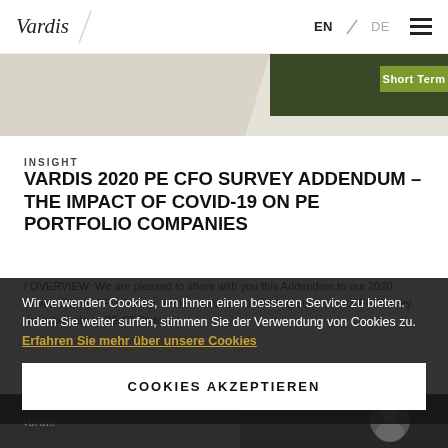Vardis / EN / DE
[Figure (screenshot): Partial hero image with diagonal light beige/grey shape on left, dark green rectangle on right with 'Short Term' green label]
INSIGHT
VARDIS 2020 PE CFO SURVEY ADDENDUM – THE IMPACT OF COVID-19 ON PE PORTFOLIO COMPANIES
/ OVERVIEW: We are pleased to share with you this Addendum to our 2020 Private Equity CFO Survey. In the course of conducting our annual CFO Survey, we asked about PE CFOs to g...
Wir verwenden Cookies, um Ihnen einen besseren Service zu bieten. Indem Sie weiter surfen, stimmen Sie der Verwendung von Cookies zu. Erfahren Sie mehr über unsere Cookies
COOKIES AKZEPTIEREN
[Figure (photo): Dark bottom strip with Vardis logo and a silhouette portrait circle on the right, dark city imagery]